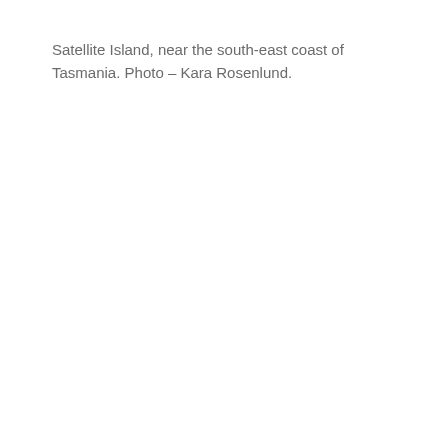Satellite Island, near the south-east coast of Tasmania. Photo – Kara Rosenlund.